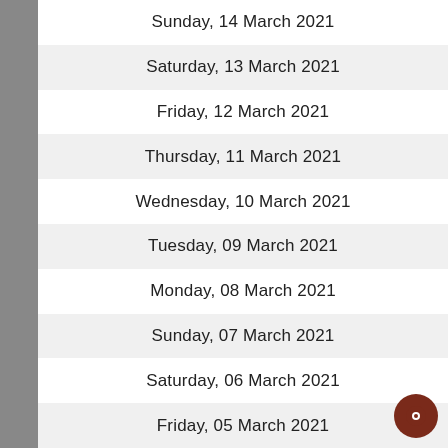Sunday, 14 March 2021
Saturday, 13 March 2021
Friday, 12 March 2021
Thursday, 11 March 2021
Wednesday, 10 March 2021
Tuesday, 09 March 2021
Monday, 08 March 2021
Sunday, 07 March 2021
Saturday, 06 March 2021
Friday, 05 March 2021